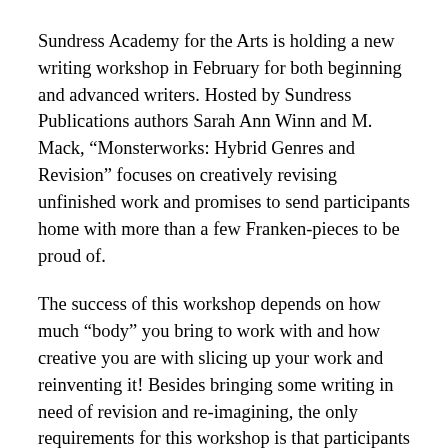Sundress Academy for the Arts is holding a new writing workshop in February for both beginning and advanced writers. Hosted by Sundress Publications authors Sarah Ann Winn and M. Mack, “Monsterworks: Hybrid Genres and Revision” focuses on creatively revising unfinished work and promises to send participants home with more than a few Franken-pieces to be proud of.
The success of this workshop depends on how much “body” you bring to work with and how creative you are with slicing up your work and reinventing it! Besides bringing some writing in need of revision and re-imagining, the only requirements for this workshop is that participants bring a journal, pen, scissors, glue/tape. Creativity is also a plus, but if you lack that or lack pages of your own writing to work with, there will be plenty of spare parts to go around.
Sarah Ann Winn lives in Fairfax Virginia. Her poems